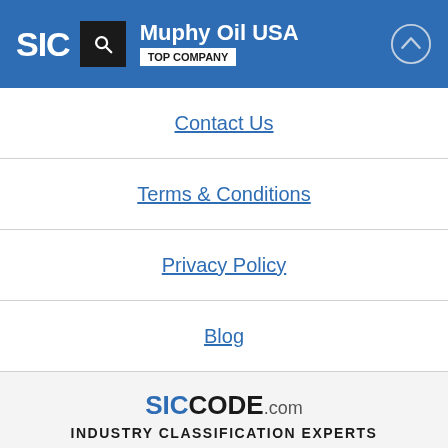SIC | Muphy Oil USA | TOP COMPANY
Contact Us
Terms & Conditions
Privacy Policy
Blog
SICCODE.com INDUSTRY CLASSIFICATION EXPERTS Copyright 2022 © SICCODE.com